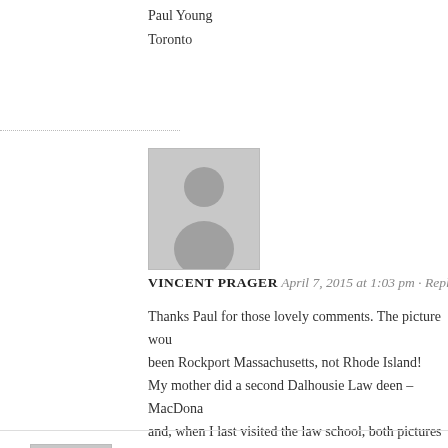Paul Young
Toronto
VINCENT PRAGER April 7, 2015 at 1:03 pm · Reply
Thanks Paul for those lovely comments. The picture wou been Rockport Massachusetts, not Rhode Island! My mother did a second Dalhousie Law deen – MacDona and, when I last visited the law school, both pictures were side by side. Regards Vincent Prager
Irene August 26, 2012 at 9:59 pm · Reply